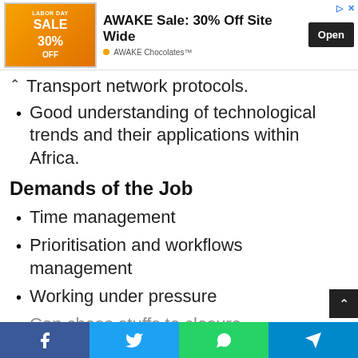[Figure (screenshot): Advertisement banner for AWAKE Chocolates Labor Day Sale: 30% Off Site Wide, with Open button]
Transport network protocols.
Good understanding of technological trends and their applications within Africa.
Demands of the Job
Time management
Prioritisation and workflows management
Working under pressure
Can chase stuffs to closure